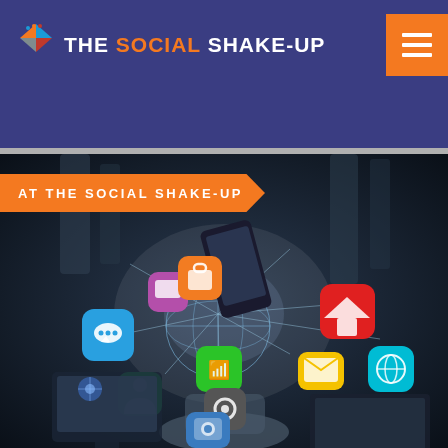THE SOCIAL SHAKE-UP
AT THE SOCIAL SHAKE-UP
[Figure (photo): A hand holding a holographic globe with social media and app icons floating around smartphones, tablets, and laptops, against a dark blurred background.]